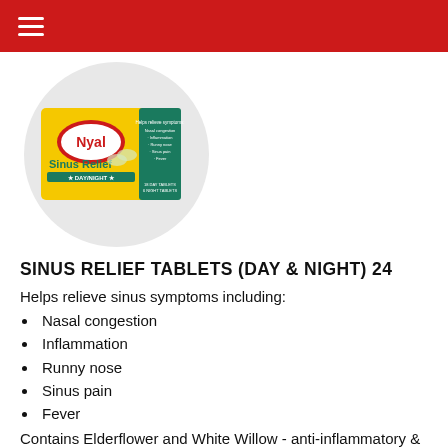≡
[Figure (photo): Nyal Sinus Relief Day & Night tablets product box inside a circular grey background. The box is yellow and green with the Nyal logo in red and white, showing 'Sinus Relief' branding and tablet count information.]
SINUS RELIEF TABLETS (DAY & NIGHT) 24
Helps relieve sinus symptoms including:
Nasal congestion
Inflammation
Runny nose
Sinus pain
Fever
Contains Elderflower and White Willow - anti-inflammatory & anti catarrhal properties to